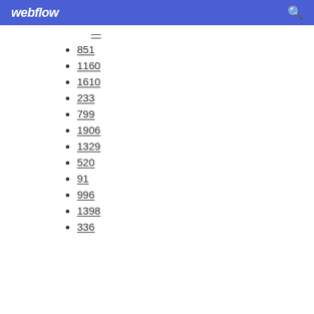webflow
851
1160
1610
233
799
1906
1329
520
91
996
1398
336